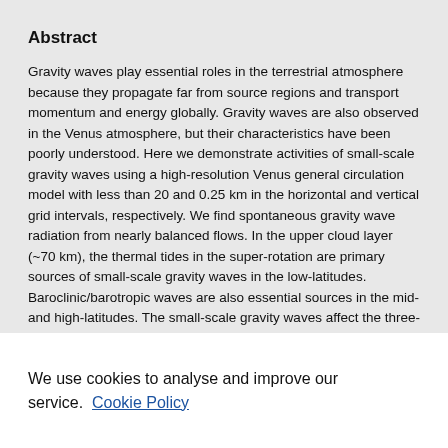Abstract
Gravity waves play essential roles in the terrestrial atmosphere because they propagate far from source regions and transport momentum and energy globally. Gravity waves are also observed in the Venus atmosphere, but their characteristics have been poorly understood. Here we demonstrate activities of small-scale gravity waves using a high-resolution Venus general circulation model with less than 20 and 0.25 km in the horizontal and vertical grid intervals, respectively. We find spontaneous gravity wave radiation from nearly balanced flows. In the upper cloud layer (~70 km), the thermal tides in the super-rotation are primary sources of small-scale gravity waves in the low-latitudes. Baroclinic/barotropic waves are also essential sources in the mid- and high-latitudes. The small-scale gravity waves affect the three-dimensional structure of the super-rotation and contribute to...
We use cookies to analyse and improve our service. Cookie Policy